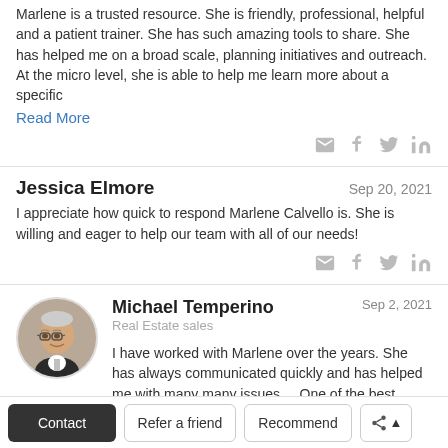Marlene is a trusted resource. She is friendly, professional, helpful and a patient trainer. She has such amazing tools to share. She has helped me on a broad scale, planning initiatives and outreach. At the micro level, she is able to help me learn more about a specific
Read More
Jessica Elmore
Sep 20, 2021
I appreciate how quick to respond Marlene Calvello is. She is willing and eager to help our team with all of our needs!
Michael Temperino
Real Estate sales
Sep 2, 2021
I have worked with Marlene over the years. She has always communicated quickly and has helped me with many many issues.... One of the best people I have worked with at CTI ... Thanks Marlene ... I appreciate
Read More
Contact Refer a friend Recommend